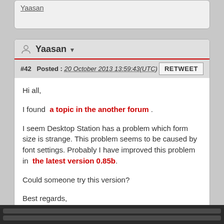Yaasan
Yaasan ▾
#42  Posted : 20 October 2013 13:59:43(UTC)
Hi all,

I found  a topic in the another forum .

I seem Desktop Station has a problem which form size is strange. This problem seems to be caused by font settings. Probably I have improved this problem in  the latest version 0.85b.

Could someone try this version?

Best regards,
Yaasan